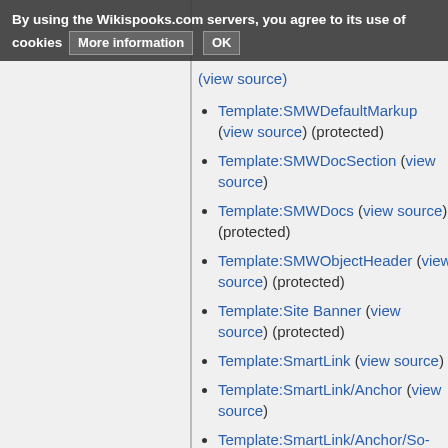By using the Wikispooks.com servers, you agree to its use of cookies [More information] [OK]
(view source)
Template:SMWDefaultMarkup (view source) (protected)
Template:SMWDocSection (view source)
Template:SMWDocs (view source) (protected)
Template:SMWObjectHeader (view source) (protected)
Template:Site Banner (view source) (protected)
Template:SmartLink (view source)
Template:SmartLink/Anchor (view source)
Template:SmartLink/Anchor/So-called (view source)